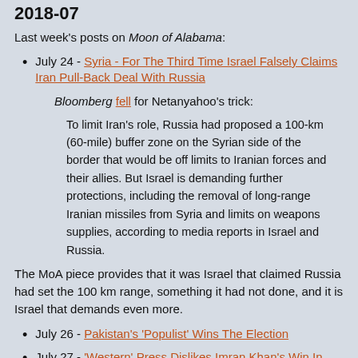2018-07
Last week's posts on Moon of Alabama:
July 24 - Syria - For The Third Time Israel Falsely Claims Iran Pull-Back Deal With Russia
Bloomberg fell for Netanyahoo's trick:
To limit Iran's role, Russia had proposed a 100-km (60-mile) buffer zone on the Syrian side of the border that would be off limits to Iranian forces and their allies. But Israel is demanding further protections, including the removal of long-range Iranian missiles from Syria and limits on weapons supplies, according to media reports in Israel and Russia.
The MoA piece provides that it was Israel that claimed Russia had set the 100 km range, something it had not done, and it is Israel that demands even more.
July 26 - Pakistan's 'Populist' Wins The Election
July 27 - 'Western' Press Dislikes Imran Khan's Win In Pakistan's Election
This was, for several reasons, an unproductive week